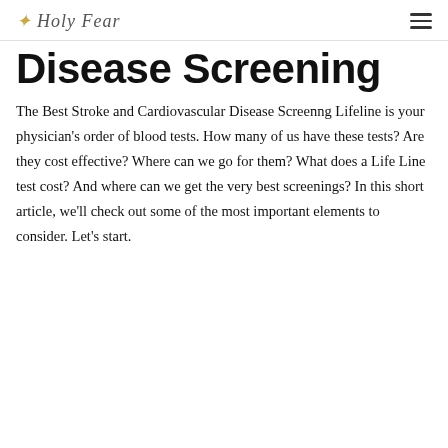✦ Holy Fear
Disease Screening
The Best Stroke and Cardiovascular Disease Screenng Lifeline is your physician's order of blood tests. How many of us have these tests? Are they cost effective? Where can we go for them? What does a Life Line test cost? And where can we get the very best screenings? In this short article, we'll check out some of the most important elements to consider. Let's start.